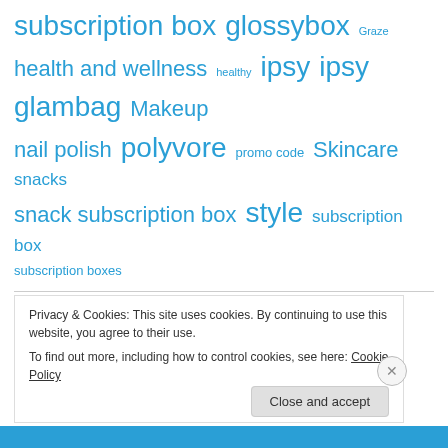subscription box glossybox Graze health and wellness healthy ipsy ipsy glambag Makeup nail polish polyvore promo code Skincare snacks snack subscription box style subscription box subscription boxes
Categories
Select Category
Privacy & Cookies: This site uses cookies. By continuing to use this website, you agree to their use.
To find out more, including how to control cookies, see here: Cookie Policy
Close and accept